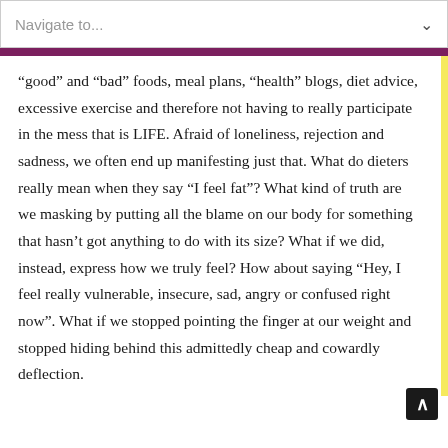Navigate to...
“good” and “bad” foods, meal plans, “health” blogs, diet advice, excessive exercise and therefore not having to really participate in the mess that is LIFE. Afraid of loneliness, rejection and sadness, we often end up manifesting just that. What do dieters really mean when they say “I feel fat”? What kind of truth are we masking by putting all the blame on our body for something that hasn’t got anything to do with its size? What if we did, instead, express how we truly feel? How about saying “Hey, I feel really vulnerable, insecure, sad, angry or confused right now”. What if we stopped pointing the finger at our weight and stopped hiding behind this admittedly cheap and cowardly deflection.